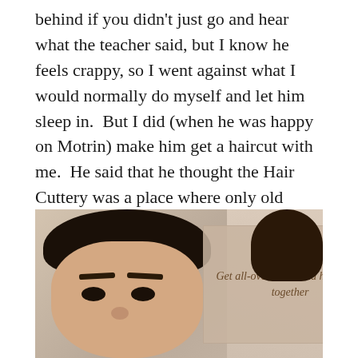behind if you didn't just go and hear what the teacher said, but I know he feels crappy, so I went against what I would normally do myself and let him sleep in.  But I did (when he was happy on Motrin) make him get a haircut with me.  He said that he thought the Hair Cuttery was a place where only old people when to get their haircut and I reminded him that we were out at noon on Tuesday and that all non-old people are at school or at work.  Oh yeah, he replied.
[Figure (photo): Photo of a boy with dark hair at what appears to be a Hair Cuttery salon, with a salon promotional sign visible in the background and another person partially visible on the right.]